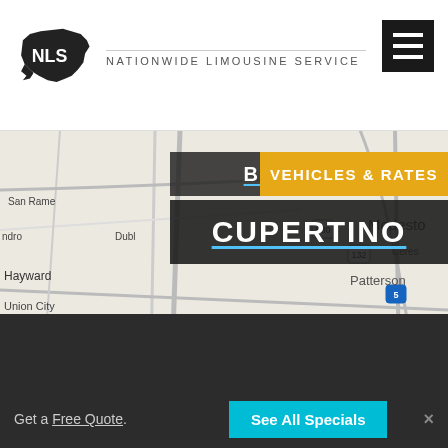[Figure (logo): NLS - Nationwide Limousine Service logo with US map silhouette]
[Figure (map): Google map showing San Francisco Bay Area and Central Valley including San Jose, Cupertino, Fremont, Milpitas, Campbell, Los Gatos, Patterson, Modesto, Newman, Gustine, etc. with a blue location pin near Cupertino/San Jose area]
BERKELEY
VEHICLES & RATES
CUPERTINO
Get a Free Quote.
See All Specials